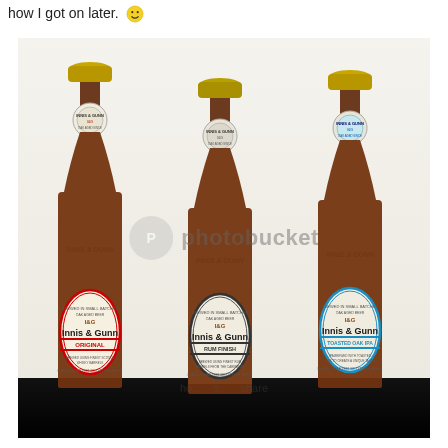how I got on later. 🙂
[Figure (photo): Three Innis & Gunn beer bottles side by side against a light background with a black strip at the bottom. Left bottle: Innis & Gunn Original (red label). Center bottle: Innis & Gunn Rum Finish (dark/black label). Right bottle: Innis & Gunn Toasted Oak IPA (blue label). All bottles are brown glass with gold bottle caps and circular neck labels. Photobucket watermark overlaid in the center.]